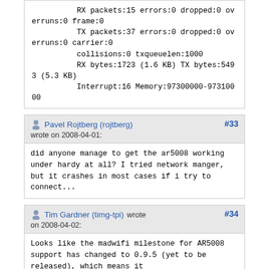RX packets:15 errors:0 dropped:0 overruns:0 frame:0
          TX packets:37 errors:0 dropped:0 overruns:0 carrier:0
          collisions:0 txqueuelen:1000
          RX bytes:1723 (1.6 KB) TX bytes:5493 (5.3 KB)
          Interrupt:16 Memory:97300000-97310000
Pavel Rojtberg (rojtberg) wrote on 2008-04-01: #33
did anyone manage to get the ar5008 working under hardy at all? I tried network manger, but it crashes in most cases if i try to connect...
Tim Gardner (timg-tpi) wrote on 2008-04-02: #34
Looks like the madwifi milestone for AR5008 support has changed to 0.9.5 (yet to be released), which means it